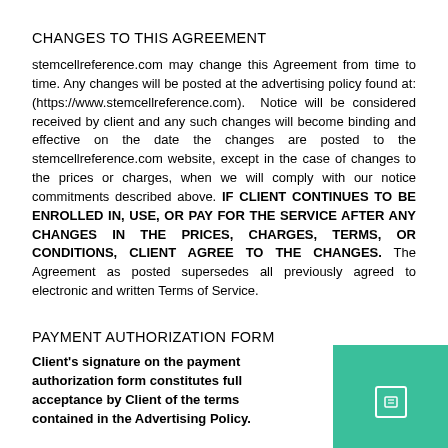CHANGES TO THIS AGREEMENT
stemcellreference.com may change this Agreement from time to time. Any changes will be posted at the advertising policy found at: (https://www.stemcellreference.com). Notice will be considered received by client and any such changes will become binding and effective on the date the changes are posted to the stemcellreference.com website, except in the case of changes to the prices or charges, when we will comply with our notice commitments described above. IF CLIENT CONTINUES TO BE ENROLLED IN, USE, OR PAY FOR THE SERVICE AFTER ANY CHANGES IN THE PRICES, CHARGES, TERMS, OR CONDITIONS, CLIENT AGREE TO THE CHANGES. The Agreement as posted supersedes all previously agreed to electronic and written Terms of Service.
PAYMENT AUTHORIZATION FORM
Client's signature on the payment authorization form constitutes full acceptance by Client of the terms contained in the Advertising Policy.